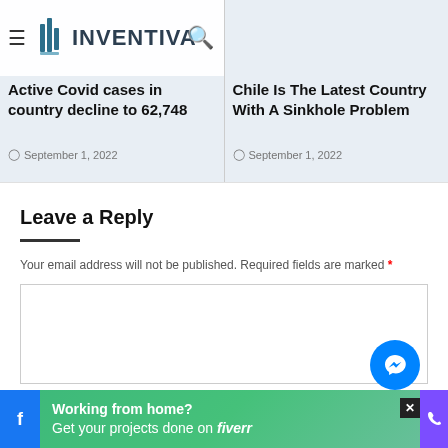[Figure (screenshot): Inventiva website header/navbar with hamburger menu, logo, and search icon on a light blue-grey background]
Active Covid cases in country decline to 62,748
September 1, 2022
Chile Is The Latest Country With A Sinkhole Problem
September 1, 2022
Leave a Reply
Your email address will not be published. Required fields are marked *
[Figure (screenshot): Comment text area input box]
[Figure (infographic): Green advertisement banner: Working from home? Get your projects done on fiverr, with Facebook icon on left and close button, messenger bubble, phone icon on right]